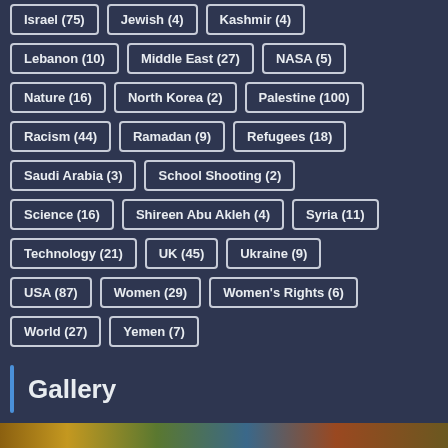Israel (75)
Jewish (4)
Kashmir (4)
Lebanon (10)
Middle East (27)
NASA (5)
Nature (16)
North Korea (2)
Palestine (100)
Racism (44)
Ramadan (9)
Refugees (18)
Saudi Arabia (3)
School Shooting (2)
Science (16)
Shireen Abu Akleh (4)
Syria (11)
Technology (21)
UK (45)
Ukraine (9)
USA (87)
Women (29)
Women's Rights (6)
World (27)
Yemen (7)
Gallery